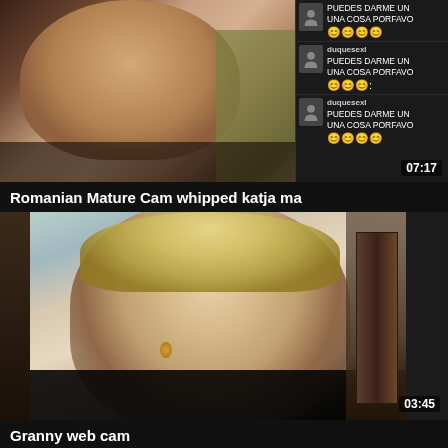[Figure (screenshot): Video thumbnail showing a woman on a webcam with a chat overlay on the right side showing repeated messages with emoji, duration 07:17]
Romanian Mature Cam whipped katja ma
[Figure (screenshot): Video thumbnail showing an elderly blonde woman with red lipstick on a webcam, duration 03:45]
Granny web cam